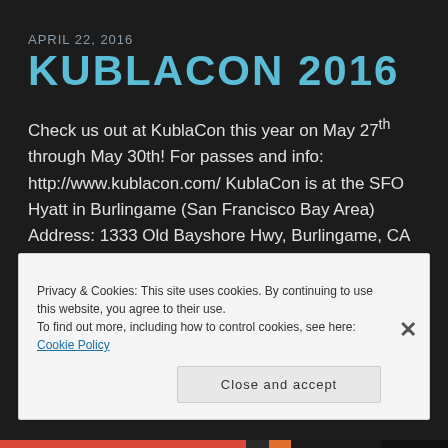APRIL 22, 2016
KUBLACON 2016
Check us out at KublaCon this year on May 27th through May 30th! For passes and info: http://www.kublacon.com/ KublaCon is at the SFO Hyatt in Burlingame (San Francisco Bay Area) Address: 1333 Old Bayshore Hwy, Burlingame, CA 94010 Phone:(650) 347-1234   We’ll be running a game Friday Night at 8:00 PM (on the 27th). See you [...]
Privacy & Cookies: This site uses cookies. By continuing to use this website, you agree to their use.
To find out more, including how to control cookies, see here: Cookie Policy